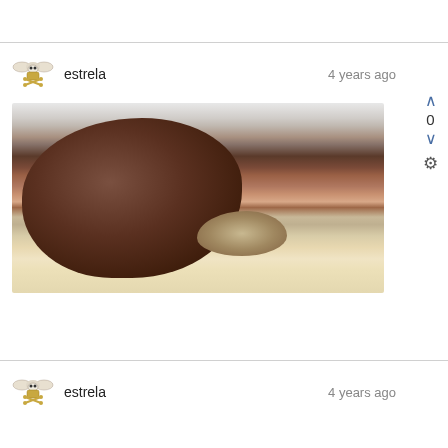[Figure (other): User avatar icon - pixel art style badge/emblem with wings and decorative elements]
estrela
4 years ago
[Figure (photo): Outdoor beach photo showing large reddish-brown boulders on sandy shore with hazy sky and water in background]
[Figure (other): User avatar icon - pixel art style badge/emblem with wings and decorative elements]
estrela
4 years ago